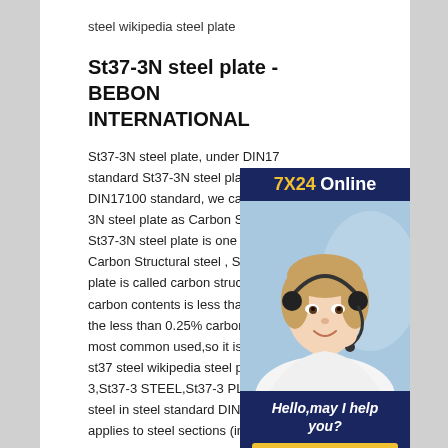steel wikipedia steel plate
St37-3N steel plate - BEBON INTERNATIONAL
St37-3N steel plate, under DIN17 standard St37-3N steel plate, unc DIN17100 standard, we can rega 3N steel plate as Carbon Structur St37-3N steel plate is one mainly Carbon Structural steel , St37-N s plate is called carbon structural st carbon contents is less than 0.38%,but the less than 0.25% carbon content is most common used,so it is also called low st37 steel wikipedia steel plateSt37-3,St37-3 STEEL,St37-3 PLATESt37.3 steel in steel standard DIN 17100 which applies to steel sections (including wide
[Figure (photo): Customer service representative wearing headset, smiling. Ad panel with '7X24 Online' header, 'Hello,may I help you?' text, and 'Get Latest Price' yellow button on dark navy background.]